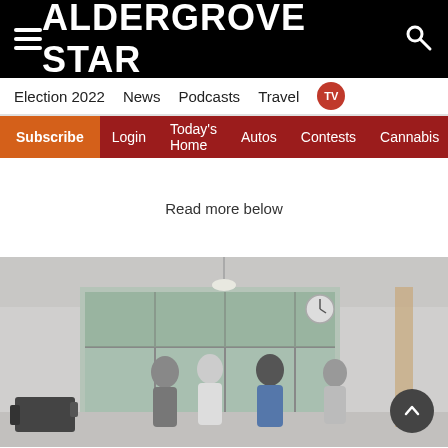ALDERGROVE STAR
Election 2022  News  Podcasts  Travel  TV
Subscribe  Login  Today's Home  Autos  Contests  Cannabis
Read more below
[Figure (photo): People walking in a hallway or lobby of a building with large windows in the background. Several students or young people are seen from behind walking toward glass doors.]